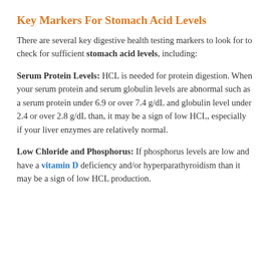Key Markers For Stomach Acid Levels
There are several key digestive health testing markers to look for to check for sufficient stomach acid levels, including:
Serum Protein Levels: HCL is needed for protein digestion. When your serum protein and serum globulin levels are abnormal such as a serum protein under 6.9 or over 7.4 g/dL and globulin level under 2.4 or over 2.8 g/dL than, it may be a sign of low HCL, especially if your liver enzymes are relatively normal.
Low Chloride and Phosphorus: If phosphorus levels are low and have a vitamin D deficiency and/or hyperparathyroidism than it may be a sign of low HCL production.